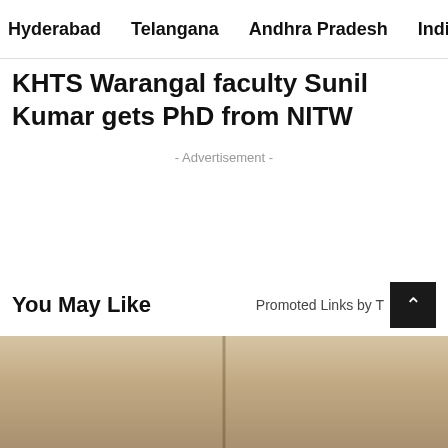Hyderabad   Telangana   Andhra Pradesh   India   E-Paper
KHTS Warangal faculty Sunil Kumar gets PhD from NITW
- Advertisement -
You May Like
Promoted Links by T
[Figure (photo): Wood grain background photo strip at bottom of page]